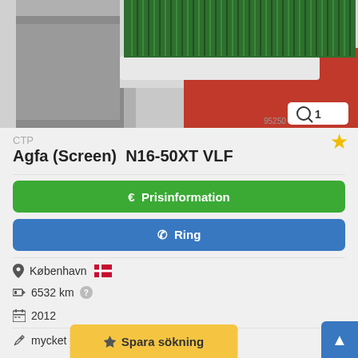[Figure (photo): Photo of an Agfa (Screen) N16-50XT VLF CTP printing machine, showing metallic grey body with red panel and green rollers on top. Number 95250 visible at bottom right of photo.]
CTP
Agfa (Screen)  N16-50XT VLF
€ Prisinformation
✆ Ring
København 🇩🇰
6532 km ?
2012
mycket bra (begagnad)
Spara sökning